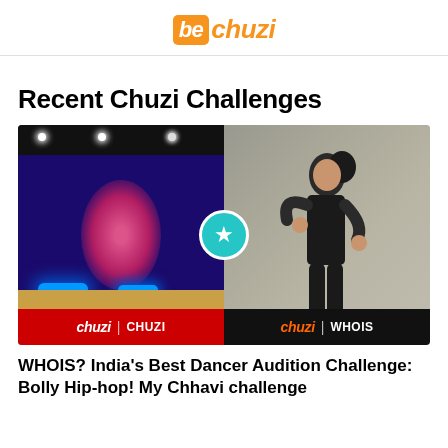bechuzi
Recent Chuzi Challenges
[Figure (photo): Composite image: left half shows a dance studio with blue and pink lighting on the floor; right half shows a young woman dancer posing against a stone wall. A teal star badge overlaps the center. Two branded badges at bottom read 'chuzi | CHUZI' (red) and 'chuzi | WHOIS' (black).]
WHOIS? India's Best Dancer Audition Challenge: Bolly Hip-hop! My Chhavi challenge